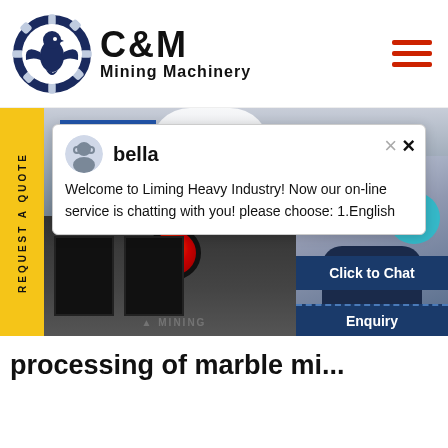[Figure (logo): C&M Mining Machinery logo with eagle gear icon]
[Figure (screenshot): Website screenshot showing mining machinery hero image, yellow REQUEST A QUOTE sidebar, chat popup from 'bella' saying 'Welcome to Liming Heavy Industry! Now our on-line service is chatting with you! please choose: 1.English', agent photo, Click to Chat button, Enquiry bar, and page title 'processing of marble mi...']
bella
Welcome to Liming Heavy Industry! Now our on-line service is chatting with you! please choose: 1.English
REQUEST A QUOTE
Click to Chat
Enquiry
processing of marble mi...